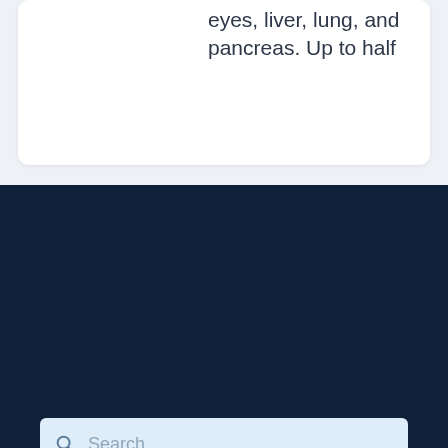eyes, liver, lung, and pancreas. Up to half
[Figure (screenshot): Search bar with magnifying glass icon and placeholder text 'Search...']
4930 Del Ray Avenue, Bethesda, MD 20814